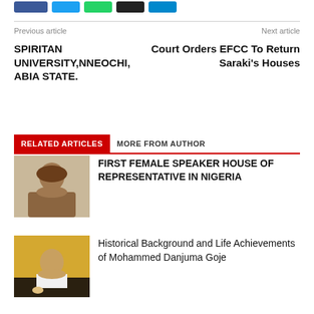[Figure (screenshot): Social sharing buttons: Facebook (blue), Twitter (light blue), WhatsApp (green), X/Twitter (black), Telegram (blue)]
Previous article
Next article
SPIRITAN UNIVERSITY,NNEOCHI, ABIA STATE.
Court Orders EFCC To Return Saraki's Houses
RELATED ARTICLES   MORE FROM AUTHOR
[Figure (photo): Thumbnail photo of a woman in traditional Nigerian attire with head tie]
FIRST FEMALE SPEAKER HOUSE OF REPRESENTATIVE IN NIGERIA
[Figure (photo): Thumbnail photo of a man speaking at a podium, wearing white traditional attire]
Historical Background and Life Achievements of Mohammed Danjuma Goje